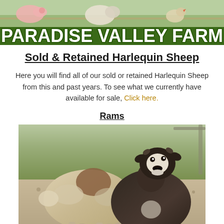[Figure (photo): Paradise Valley Farm banner with animals (pig, sheep, chickens) in background and bold white text reading PARADISE VALLEY FARM on green background]
Sold & Retained Harlequin Sheep
Here you will find all of our sold or retained Harlequin Sheep from this and past years. To see what we currently have available for sale, Click here.
Rams
[Figure (photo): Two Harlequin sheep standing outdoors on gravel/grass — one light tan/cream colored with brown patch on back facing away, one dark brown/black with white face markings facing camera]